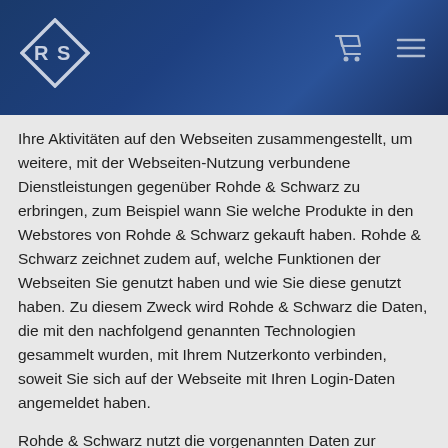Rohde & Schwarz website header with logo, cart icon, and menu icon
Ihre Aktivitäten auf den Webseiten zusammengestellt, um weitere, mit der Webseiten-Nutzung verbundene Dienstleistungen gegenüber Rohde & Schwarz zu erbringen, zum Beispiel wann Sie welche Produkte in den Webstores von Rohde & Schwarz gekauft haben. Rohde & Schwarz zeichnet zudem auf, welche Funktionen der Webseiten Sie genutzt haben und wie Sie diese genutzt haben. Zu diesem Zweck wird Rohde & Schwarz die Daten, die mit den nachfolgend genannten Technologien gesammelt wurden, mit Ihrem Nutzerkonto verbinden, soweit Sie sich auf der Webseite mit Ihren Login-Daten angemeldet haben.
Rohde & Schwarz nutzt die vorgenannten Daten zur